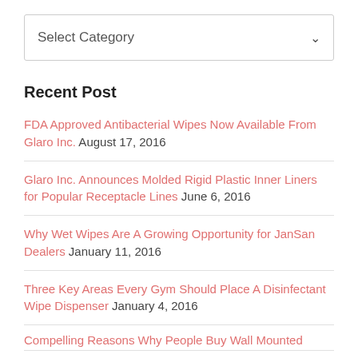[Figure (other): Dropdown select box with label 'Select Category' and a chevron arrow on the right]
Recent Post
FDA Approved Antibacterial Wipes Now Available From Glaro Inc. August 17, 2016
Glaro Inc. Announces Molded Rigid Plastic Inner Liners for Popular Receptacle Lines June 6, 2016
Why Wet Wipes Are A Growing Opportunity for JanSan Dealers January 11, 2016
Three Key Areas Every Gym Should Place A Disinfectant Wipe Dispenser January 4, 2016
Compelling Reasons Why People Buy Wall Mounted…